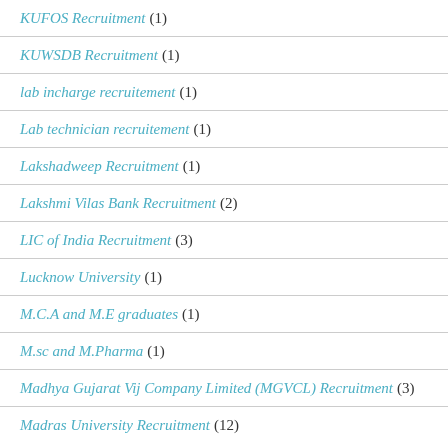KUFOS Recruitment (1)
KUWSDB Recruitment (1)
lab incharge recruitement (1)
Lab technician recruitement (1)
Lakshadweep Recruitment (1)
Lakshmi Vilas Bank Recruitment (2)
LIC of India Recruitment (3)
Lucknow University (1)
M.C.A and M.E graduates (1)
M.sc and M.Pharma (1)
Madhya Gujarat Vij Company Limited (MGVCL) Recruitment (3)
Madras University Recruitment (12)